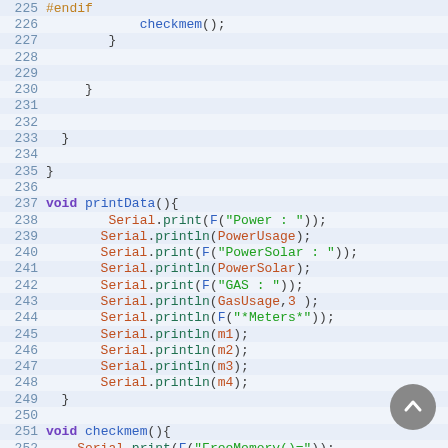[Figure (screenshot): Code editor screenshot showing Arduino/C++ code lines 225-254, with syntax highlighting. Shows #endif, checkmem(), closing braces, void printData() function with Serial.print/println calls, and void checkmem() function beginning.]